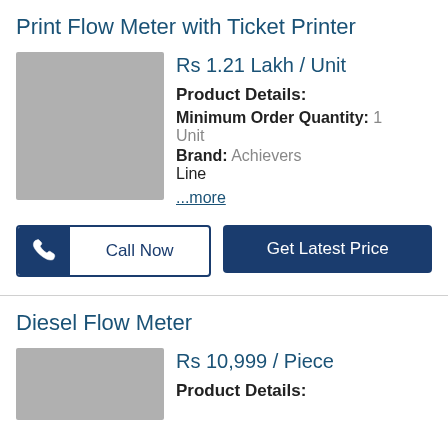Print Flow Meter with Ticket Printer
Rs 1.21 Lakh / Unit
Product Details:
Minimum Order Quantity: 1 Unit
Brand: Achievers Line
...more
Call Now
Get Latest Price
Diesel Flow Meter
Rs 10,999 / Piece
Product Details: